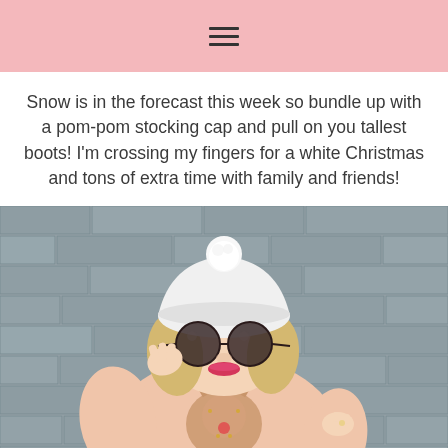☰
Snow is in the forecast this week so bundle up with a pom-pom stocking cap and pull on you tallest boots! I'm crossing my fingers for a white Christmas and tons of extra time with family and friends!
[Figure (photo): A blonde woman wearing a white pom-pom beanie hat, large round sunglasses, and a cream/blush colored holiday sweater with a sequined reindeer design, posing in front of a grey stone brick wall.]